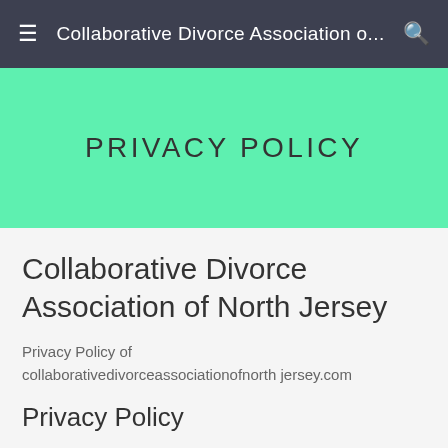Collaborative Divorce Association o...
PRIVACY POLICY
Collaborative Divorce Association of North Jersey
Privacy Policy of collaborativedivorceassociationofnorth jersey.com
Privacy Policy
Effective date: July 02, 2018